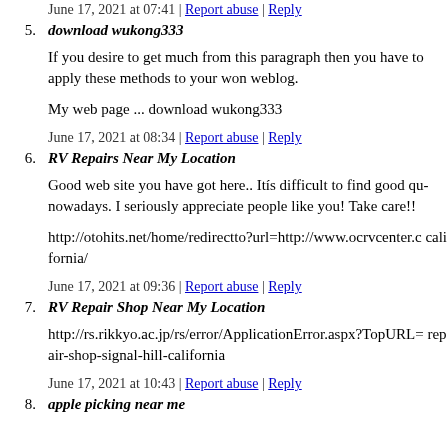June 17, 2021 at 07:41 | Report abuse | Reply
5. download wukong333
If you desire to get much from this paragraph then you have to apply these methods to your won weblog.
My web page ... download wukong333
June 17, 2021 at 08:34 | Report abuse | Reply
6. RV Repairs Near My Location
Good web site you have got here.. Itís difficult to find good qu... nowadays. I seriously appreciate people like you! Take care!!
http://otohits.net/home/redirectto?url=http://www.ocrvcenter.c... california/
June 17, 2021 at 09:36 | Report abuse | Reply
7. RV Repair Shop Near My Location
http://rs.rikkyo.ac.jp/rs/error/ApplicationError.aspx?TopURL=... repair-shop-signal-hill-california
June 17, 2021 at 10:43 | Report abuse | Reply
8. apple picking near me